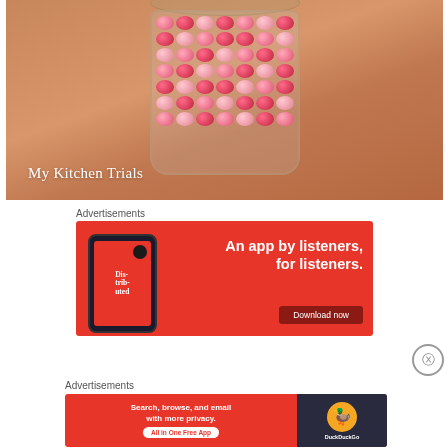[Figure (photo): A glass jar filled with red/pink oval candies or pickled items on a warm tan/orange background, with text 'My Kitchen Trials' overlaid in white serif font at bottom left]
Advertisements
[Figure (infographic): Red advertisement banner for an app called 'Dis-trib-uted'. Shows a smartphone on the left displaying the app, and bold white text on the right reading 'An app by listeners, for listeners.' with a 'Download now' dark red button.]
Advertisements
[Figure (infographic): Red advertisement banner for DuckDuckGo. Left side shows white text 'Search, browse, and email with more privacy.' and a white pill button 'All in One Free App'. Right side shows dark background with DuckDuckGo logo (duck icon) and 'DuckDuckGo' text.]